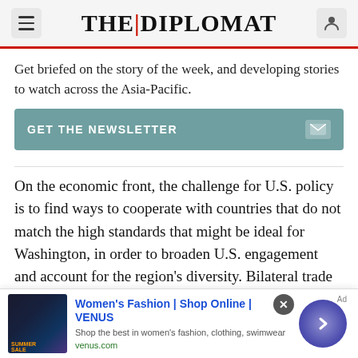THE DIPLOMAT
Get briefed on the story of the week, and developing stories to watch across the Asia-Pacific.
GET THE NEWSLETTER
On the economic front, the challenge for U.S. policy is to find ways to cooperate with countries that do not match the high standards that might be ideal for Washington, in order to broaden U.S. engagement and account for the region's diversity. Bilateral trade pacts in Southeast Asia have been hard to forge save for the U.S.-Singapore free trade
[Figure (screenshot): Advertisement banner for Women's Fashion at VENUS online shop, showing a sale image thumbnail, ad title, subtitle and venus.com URL, with close and arrow buttons.]